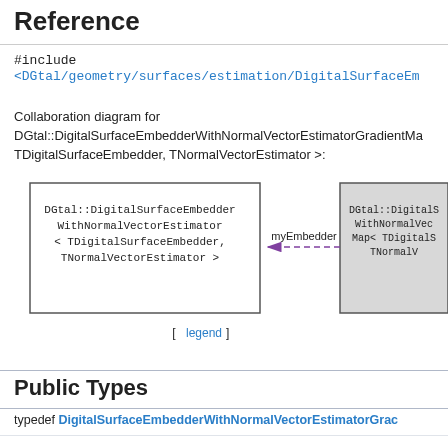Reference
#include <DGtal/geometry/surfaces/estimation/DigitalSurfaceEm...
Collaboration diagram for DGtal::DigitalSurfaceEmbedderWithNormalVectorEstimatorGradientMa TDigitalSurfaceEmbedder, TNormalVectorEstimator >:
[Figure (other): Collaboration diagram showing two connected boxes: left box 'DGtal::DigitalSurfaceEmbedderWithNormalVectorEstimator < TDigitalSurfaceEmbedder, TNormalVectorEstimator >' connected via dashed purple arrow labeled 'myEmbedder' to right box 'DGtal::DigitalSurfaceEmbedderWithNormalVec... Map< TDigitalS... TNormalV...']
[legend]
Public Types
typedef DigitalSurfaceEmbedderWithNormalVectorEstimatorGrac...
typedef DigitalSurfaceEmbedderWithNormalVectorEs...